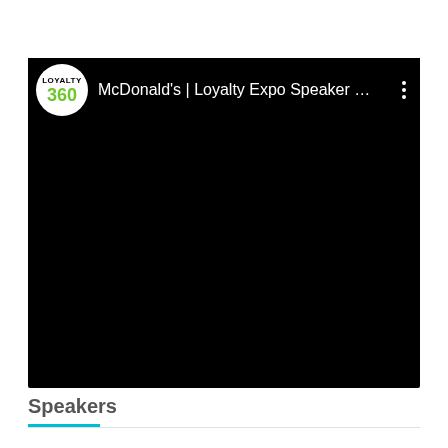[Figure (screenshot): A YouTube-style video player showing a black screen with the Loyalty360 logo (white circle with green '360' text) and title 'McDonald's | Loyalty Expo Speaker ...' with a three-dot menu icon in the top right corner.]
Speakers